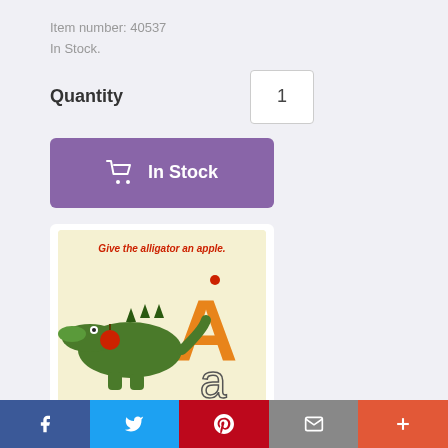Item number: 40537
In Stock.
Quantity  1
[Figure (screenshot): Purple 'In Stock' button with shopping cart icon]
[Figure (photo): Product image showing alligator literacy mat with letter A, text 'Give the alligator an apple.']
Kaplan Dough Literacy Mats (Set of 26)
Please select a format
Toy
[Figure (screenshot): Social sharing bar with Facebook, Twitter, Pinterest, Email, and Plus buttons]